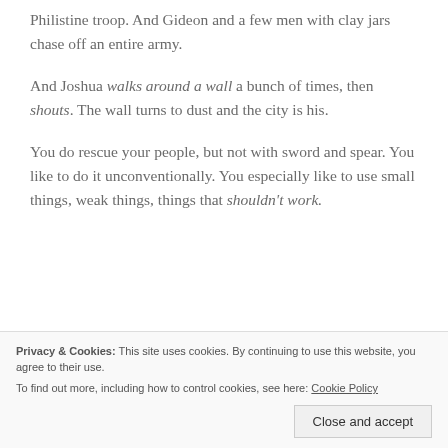Philistine troop. And Gideon and a few men with clay jars chase off an entire army.
And Joshua walks around a wall a bunch of times, then shouts. The wall turns to dust and the city is his.
You do rescue your people, but not with sword and spear. You like to do it unconventionally. You especially like to use small things, weak things, things that shouldn't work.
Privacy & Cookies: This site uses cookies. By continuing to use this website, you agree to their use. To find out more, including how to control cookies, see here: Cookie Policy
Like you used the broken Israelites, wrecked by abusive